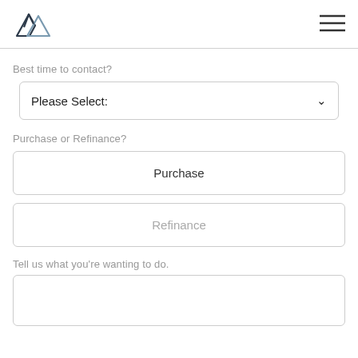[Figure (logo): Mountain peaks logo with two triangles in dark navy/slate color]
Best time to contact?
Please Select:
Purchase or Refinance?
Purchase
Refinance
Tell us what you're wanting to do.